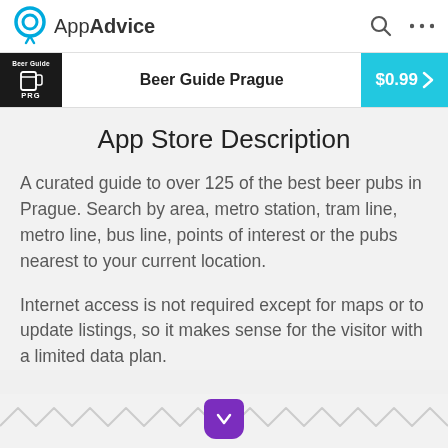AppAdvice
Beer Guide Prague $0.99
App Store Description
A curated guide to over 125 of the best beer pubs in Prague. Search by area, metro station, tram line, metro line, bus line, points of interest or the pubs nearest to your current location.
Internet access is not required except for maps or to update listings, so it makes sense for the visitor with a limited data plan.
[Figure (other): Scroll down chevron button on zigzag decorative border]